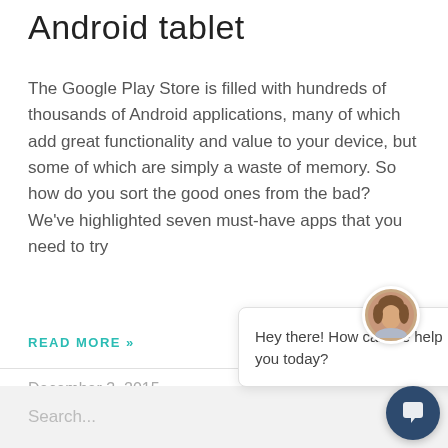Android tablet
The Google Play Store is filled with hundreds of thousands of Android applications, many of which add great functionality and value to your device, but some of which are simply a waste of memory. So how do you sort the good ones from the bad? We've highlighted seven must-have apps that you need to try
READ MORE »
December 3, 2015
[Figure (screenshot): Chat widget popup with a circular avatar photo of a woman, a close (×) button, and message: 'Hey there! How can we help you today?']
Search...